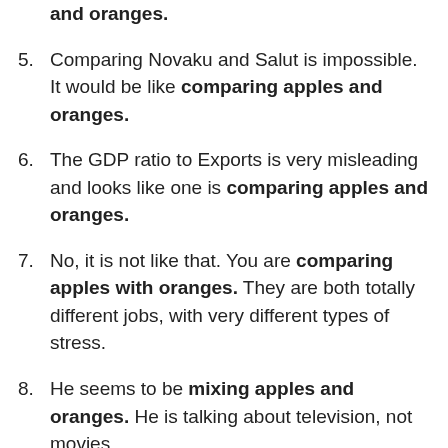and oranges. (partial, bold, top of page)
5. Comparing Novaku and Salut is impossible. It would be like comparing apples and oranges.
6. The GDP ratio to Exports is very misleading and looks like one is comparing apples and oranges.
7. No, it is not like that. You are comparing apples with oranges. They are both totally different jobs, with very different types of stress.
8. He seems to be mixing apples and oranges. He is talking about television, not movies.
9. You definitely cannot compare the new scores (partial, faded)